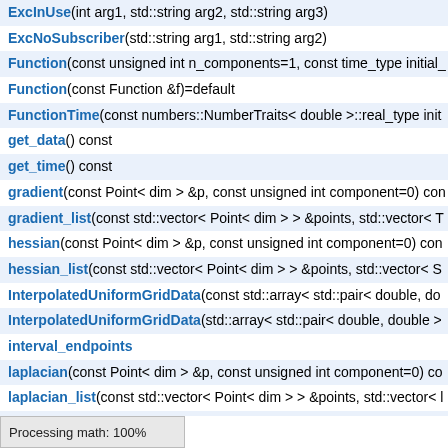ExcInUse(int arg1, std::string arg2, std::string arg3)
ExcNoSubscriber(std::string arg1, std::string arg2)
Function(const unsigned int n_components=1, const time_type initial_
Function(const Function &f)=default
FunctionTime(const numbers::NumberTraits< double >::real_type init
get_data() const
get_time() const
gradient(const Point< dim > &p, const unsigned int component=0) con
gradient_list(const std::vector< Point< dim > > &points, std::vector< T
hessian(const Point< dim > &p, const unsigned int component=0) con
hessian_list(const std::vector< Point< dim > > &points, std::vector< S
InterpolatedUniformGridData(const std::array< std::pair< double, do
InterpolatedUniformGridData(std::array< std::pair< double, double >
interval_endpoints
laplacian(const Point< dim > &p, const unsigned int component=0) co
laplacian_list(const std::vector< Point< dim > > &points, std::vector< l
list_subscribers(StreamType &stream) const
list_subscribers() const
map_iterator typedef
map_value_type typedef
memory_consumption() const override
Processing math: 100%